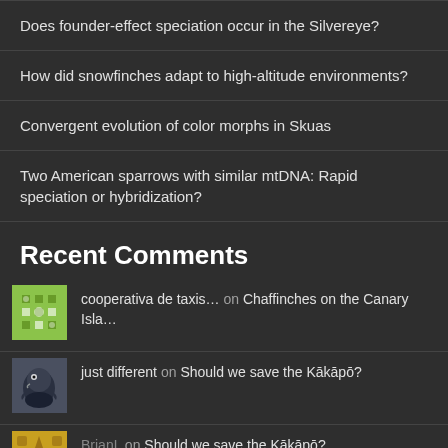Does founder-effect speciation occur in the Silvereye?
How did snowfinches adapt to high-altitude environments?
Convergent evolution of color morphs in Skuas
Two American sparrows with similar mtDNA: Rapid speciation or hybridization?
Recent Comments
cooperativa de taxis... on Chaffinches on the Canary Isla...
just different on Should we save the Kākāpō?
BrianL on Should we save the Kākāpō?